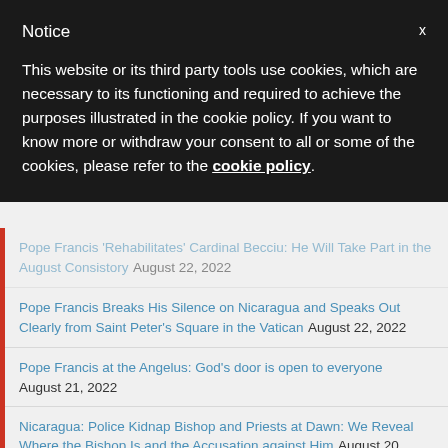Notice
This website or its third party tools use cookies, which are necessary to its functioning and required to achieve the purposes illustrated in the cookie policy. If you want to know more or withdraw your consent to all or some of the cookies, please refer to the cookie policy.
Pope Francis 'Rehabilitates' Cardinal Becciu: He Will Take Part in the August Consistory August 22, 2022
Pope Francis Breaks His Silence on Nicaragua and Speaks Out Clearly from Saint Peter's Square in the Vatican August 22, 2022
Pope Francis at the Angelus: God's door is open to everyone August 21, 2022
Nicaragua: Police Kidnap Bishop and Priests at Dawn: We Reveal Where the Bishop Is and the Accusation against Him August 20, 2022